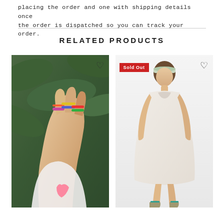placing the order and one with shipping details once the order is dispatched so you can track your order.
RELATED PRODUCTS
[Figure (photo): Close-up photo of a person's hand wearing colorful beaded rings against a green leafy background. A heart (wishlist) icon is visible in the top right corner of the image.]
[Figure (photo): Photo of a woman wearing a light pink/white sleeveless mini dress and a headband, with sandals. A red 'Sold Out' badge is shown in the top left. A heart (wishlist) icon is visible in the top right corner.]